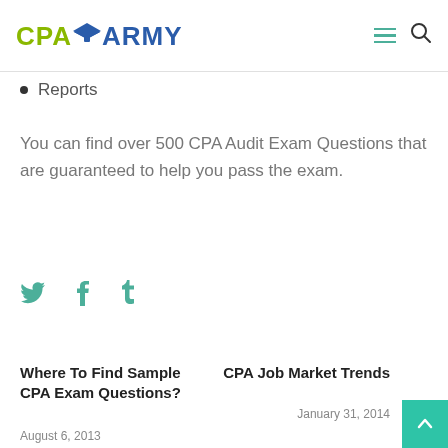CPA ARMY
Reports
You can find over 500 CPA Audit Exam Questions that are guaranteed to help you pass the exam.
[Figure (infographic): Social share icons: Twitter bird, Facebook f, Tumblr t — all in teal/green color]
Where To Find Sample CPA Exam Questions?
August 6, 2013
CPA Job Market Trends
January 31, 2014